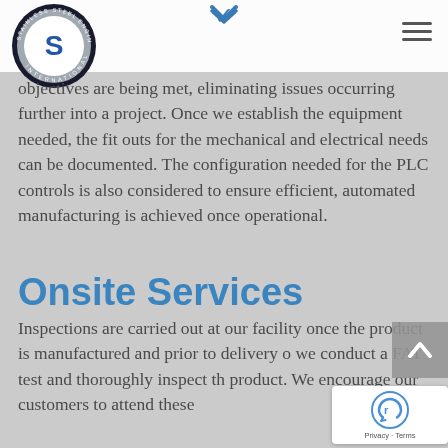Stainless Steel Engineering International – navigation header with logo and hamburger menu
objectives are being met, eliminating issues occurring further into a project. Once we establish the equipment needed, the fit outs for the mechanical and electrical needs can be documented. The configuration needed for the PLC controls is also considered to ensure efficient, automated manufacturing is achieved once operational.
Onsite Services
Inspections are carried out at our facility once the product is manufactured and prior to delivery o we conduct a FAT test and thoroughly inspect th product. We encourage our customers to attend these